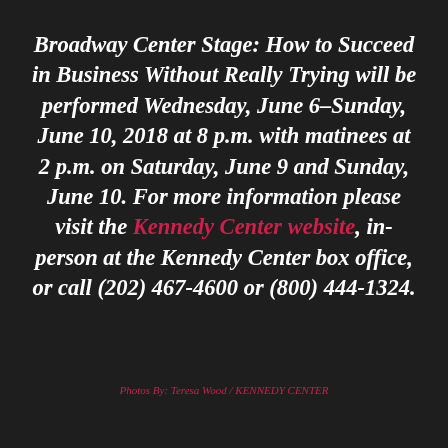Broadway Center Stage: How to Succeed in Business Without Really Trying will be performed Wednesday, June 6–Sunday, June 10, 2018 at 8 p.m. with matinees at 2 p.m. on Saturday, June 9 and Sunday, June 10. For more information please visit the Kennedy Center website, in-person at the Kennedy Center box office, or call (202) 467-4600 or (800) 444-1324.
Photos By: Teresa Wood / KENNEDY CENTER